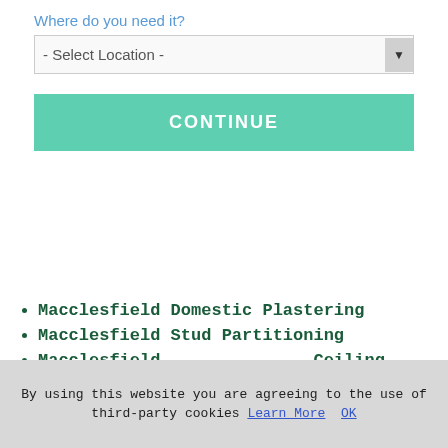Where do you need it?
- Select Location -
CONTINUE
Macclesfield Domestic Plastering
Macclesfield Stud Partitioning
Macclesfield Ceiling Replacements
Macclesfield Plastering Courses
Macclesfield Dry Lining
Macclesfield Artex Covering
Macclesfield Float and Set
Macclesfield Soundproofing
By using this website you are agreeing to the use of third-party cookies Learn More OK